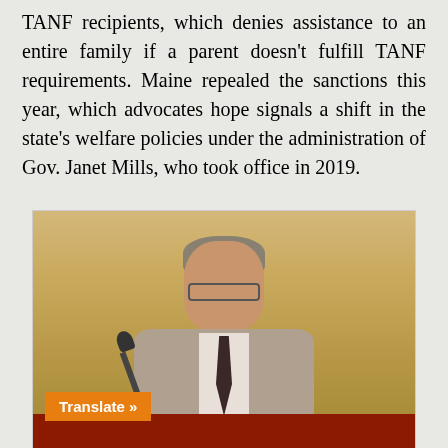TANF recipients, which denies assistance to an entire family if a parent doesn't fulfill TANF requirements. Maine repealed the sanctions this year, which advocates hope signals a shift in the state's welfare policies under the administration of Gov. Janet Mills, who took office in 2019.
[Figure (photo): A man in a gray suit speaking at a podium with a microphone, in front of a golden/yellow curtain backdrop. An orange 'Translate »' button is overlaid in the bottom-left corner of the photo.]